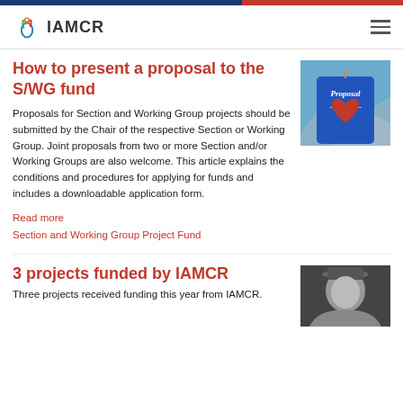IAMCR
How to present a proposal to the S/WG fund
Proposals for Section and Working Group projects should be submitted by the Chair of the respective Section or Working Group. Joint proposals from two or more Section and/or Working Groups are also welcome. This article explains the conditions and procedures for applying for funds and includes a downloadable application form.
[Figure (photo): A blue sign reading 'Proposal Point' with a red heart, set against a mountain background.]
Read more
Section and Working Group Project Fund
3 projects funded by IAMCR
[Figure (photo): A black and white portrait photo of a person wearing a hat.]